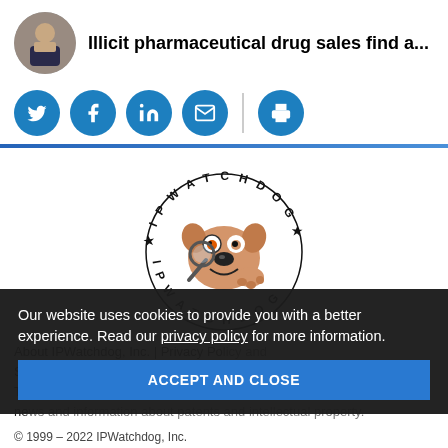[Figure (photo): Circular avatar photo of a man in glasses and suit jacket against a brick wall background]
Illicit pharmaceutical drug sales find a...
[Figure (infographic): Social media share buttons: Twitter, Facebook, LinkedIn, Email (blue circles), and Print (blue circle after divider)]
[Figure (logo): IPWatchdog logo: cartoon bulldog with magnifying glass surrounded by circular text reading IPWATCHDOG IPWATCHDOG]
About IPWatchdog, Inc. | Privacy Policy and Statement of Ethics | Advertise on IPWatchdog.com | Contact Us | IPWatchdog | Intellectual Property. Today IPWatchdog is recognized as the leading sources for news...
Our website uses cookies to provide you with a better experience. Read our privacy policy for more information.
ACCEPT AND CLOSE
© 1999 – 2022 IPWatchdog, Inc.